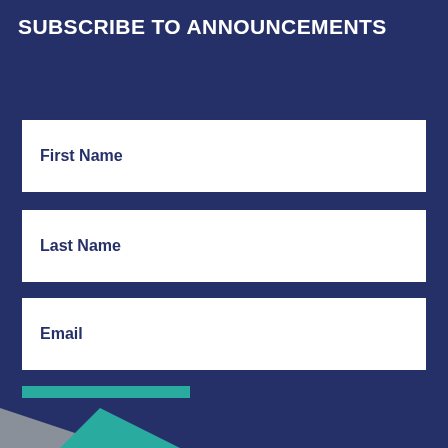SUBSCRIBE TO ANNOUNCEMENTS
First Name
Last Name
Email
Subscribe